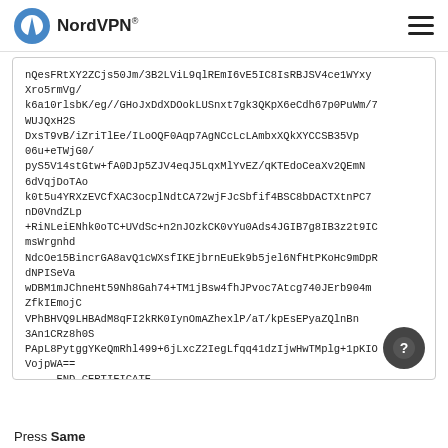NordVPN®
nQesFRtXY2ZCjs50Jm/3B2LViL9qlREmI6vE5IC8IsRBJSV4ce1WYxyXro5rmVg/
k6a10rlsbK/eg//GHoJxDdXDOokLUSnxt7gk3QKpX6eCdh67p0PuWm/7WUJQxH2S
DxsT9vB/iZriTlEe/ILoOQF0Aqp7AgNCcLcLAmbxXQkXYCCSB35Vp06u+eTWjG0/
pyS5V14stGtw+fA0DJp5ZJV4eqJ5LqxMlYvEZ/qKTEdoCeaXv2QEmN6dVqjDoTAo
k0t5u4YRXzEVCfXAC3ocplNdtCA72wjFJcSbfif4BSC8bDACTXtnPC7nD0VndZLp
+RiNLeiENhk0oTC+UVdSc+n2nJOzkCK0vYu0Ads4JGIB7g8IB3z2t9ICmsWrgnhd
NdcOe15BincrGA8avQ1cWXsfIKEjbrnEuEk9b5jel6NfHtPKoHc9mDpRdNPISeVa
wDBM1mJChneHt59Nh8Gah74+TM1jBsw4fhJPvoc7Atcg740JErb904mZfkIEmojC
VPhBHVQ9LHBAdM8qFI2kRK0IynOmAZhexlP/aT/kpEsEPyaZQlnBn3An1CRz8h0S
PApL8PytggYKeQmRhl499+6jLxcZ2IegLfqq41dzIjwHwTMplg+1pKIOVojpWA==
-----END CERTIFICATE-----